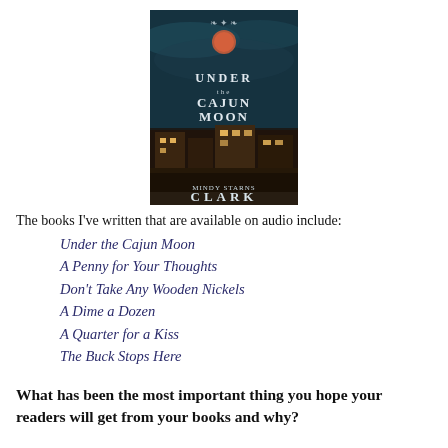[Figure (illustration): Book cover of 'Under the Cajun Moon' by Mindy Starns Clark. Dark teal/navy background with a full moon, decorative scroll ornament at top, city street scene below, title text in white/silver, author name in large white letters at bottom.]
The books I've written that are available on audio include:
Under the Cajun Moon
A Penny for Your Thoughts
Don't Take Any Wooden Nickels
A Dime a Dozen
A Quarter for a Kiss
The Buck Stops Here
What has been the most important thing you hope your readers will get from your books and why?